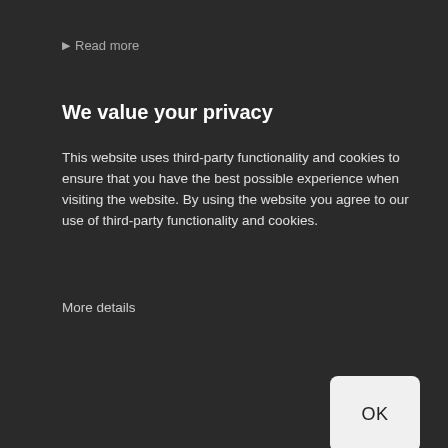🔊 Read more
We value your privacy
This website uses third-party functionality and cookies to ensure that you have the best possible experience when visiting the website. By using the website you agree to our use of third-party functionality and cookies.
More details
[Figure (screenshot): OK button (white rounded rectangle with dark text 'OK')]